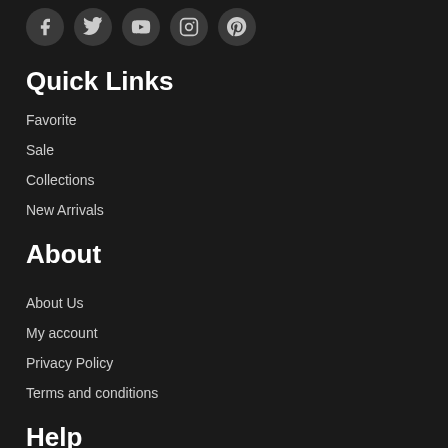[Figure (illustration): Row of 5 social media icon circles (Facebook, Twitter, YouTube, Instagram, Pinterest) on dark background]
Quick Links
Favorite
Sale
Collections
New Arrivals
About
About Us
My account
Privacy Policy
Terms and conditions
Help
Contact Us